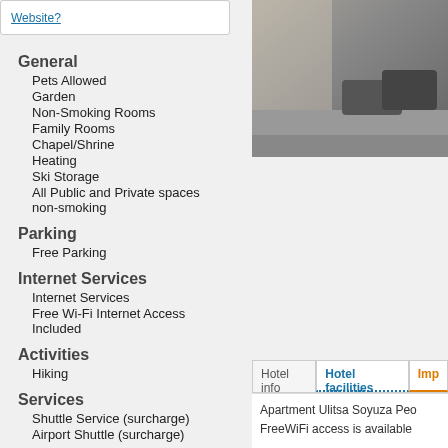Website?
[Figure (photo): Street photo showing cars parked along a building facade]
General
Pets Allowed
Garden
Non-Smoking Rooms
Family Rooms
Chapel/Shrine
Heating
Ski Storage
All Public and Private spaces non-smoking
Parking
Free Parking
Internet Services
Internet Services
Free Wi-Fi Internet Access Included
Activities
Hiking
Services
Shuttle Service (surcharge)
Airport Shuttle (surcharge)
Hotel info
Hotel facilities
Imp
Apartment Ulitsa Soyuza Peo
FreeWiFi access is available